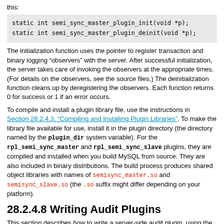this:
static int semi_sync_master_plugin_init(void *p);
static int semi_sync_master_plugin_deinit(void *p);
The initialization function uses the pointer to register transaction and binary logging “observers” with the server. After successful initialization, the server takes care of invoking the observers at the appropriate times. (For details on the observers, see the source files.) The deinitialization function cleans up by deregistering the observers. Each function returns 0 for success or 1 if an error occurs.
To compile and install a plugin library file, use the instructions in Section 28.2.4.3, “Compiling and Installing Plugin Libraries”. To make the library file available for use, install it in the plugin directory (the directory named by the plugin_dir system variable). For the rpl_semi_sync_master and rpl_semi_sync_slave plugins, they are compiled and installed when you build MySQL from source. They are also included in binary distributions. The build process produces shared object libraries with names of semisync_master.so and semisync_slave.so (the .so suffix might differ depending on your platform).
28.2.4.8 Writing Audit Plugins
This section describes how to write a server-side audit plugin, using the same plugin interface in the same manner as described for ...